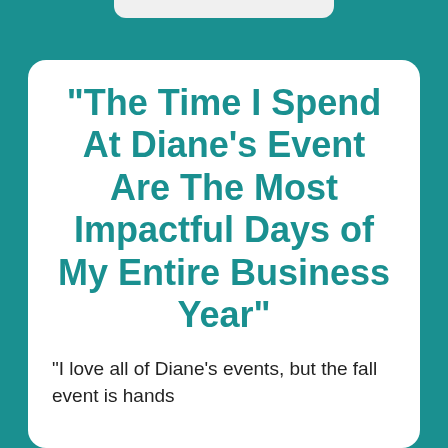"The Time I Spend At Diane’s Event Are The Most Impactful Days of My Entire Business Year"
“I love all of Diane’s events, but the fall event is hands